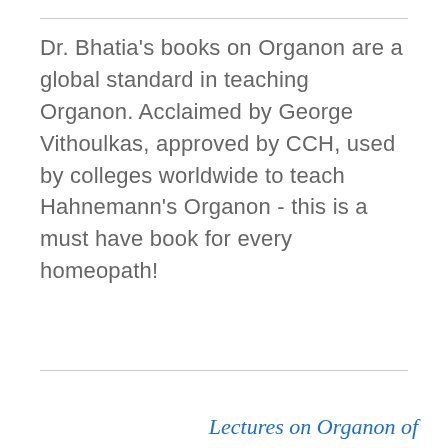Dr. Bhatia's books on Organon are a global standard in teaching Organon. Acclaimed by George Vithoulkas, approved by CCH, used by colleges worldwide to teach Hahnemann's Organon - this is a must have book for every homeopath!
Lectures on Organon of